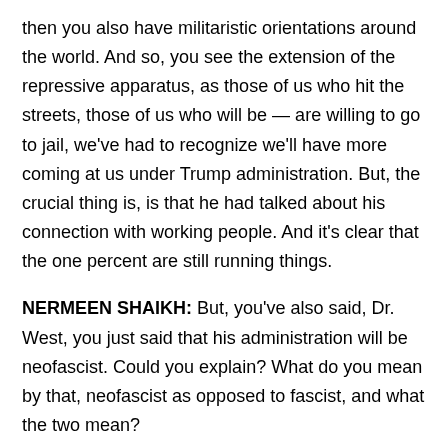then you also have militaristic orientations around the world. And so, you see the extension of the repressive apparatus, as those of us who hit the streets, those of us who will be — are willing to go to jail, we've had to recognize we'll have more coming at us under Trump administration. But, the crucial thing is, is that he had talked about his connection with working people. And it's clear that the one percent are still running things.
NERMEEN SHAIKH: But, you've also said, Dr. West, you just said that his administration will be neofascist. Could you explain? What do you mean by that, neofascist as opposed to fascist, and what the two mean?
CORNEL WEST: What neofascist — it's an American style form of fascism. What I mean by that is we've had neoliberal rule from Carter to Obama. That neoliberal rule left in place a national security state. It left in place massive surveillance. It left